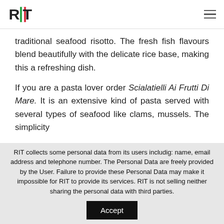RIT logo and navigation menu
traditional seafood risotto. The fresh fish flavours blend beautifully with the delicate rice base, making this a refreshing dish.

If you are a pasta lover order Scialatielli Ai Frutti Di Mare. It is an extensive kind of pasta served with several types of seafood like clams, mussels. The simplicity
RIT collects some personal data from its users includig: name, email address and telephone number. The Personal Data are freely provided by the User. Failure to provide these Personal Data may make it impossible for RIT to provide its services. RIT is not selling neither sharing the personal data with third parties.